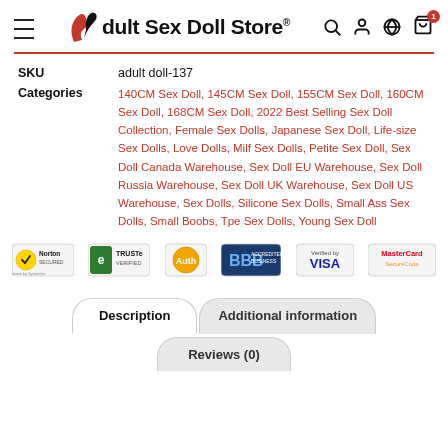Adult Sex Doll Store
| Field | Value |
| --- | --- |
| SKU | adult doll-137 |
| Categories | 140CM Sex Doll, 145CM Sex Doll, 155CM Sex Doll, 160CM Sex Doll, 168CM Sex Doll, 2022 Best Selling Sex Doll Collection, Female Sex Dolls, Japanese Sex Doll, Life-size Sex Dolls, Love Dolls, Milf Sex Dolls, Petite Sex Doll, Sex Doll Canada Warehouse, Sex Doll EU Warehouse, Sex Doll Russia Warehouse, Sex Doll UK Warehouse, Sex Doll US Warehouse, Sex Dolls, Silicone Sex Dolls, Small Ass Sex Dolls, Small Boobs, Tpe Sex Dolls, Young Sex Doll |
[Figure (other): Trust badges: Norton Secured, TRUSTe Verified, Authorize.Net, BBB Accredited Business, Verified by Visa, MasterCard SecureCode]
Description | Additional information | Reviews (0)